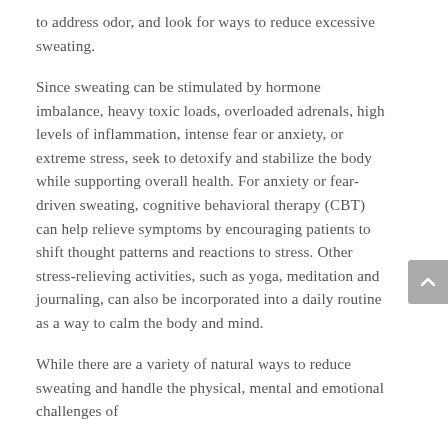to address odor, and look for ways to reduce excessive sweating.
Since sweating can be stimulated by hormone imbalance, heavy toxic loads, overloaded adrenals, high levels of inflammation, intense fear or anxiety, or extreme stress, seek to detoxify and stabilize the body while supporting overall health. For anxiety or fear-driven sweating, cognitive behavioral therapy (CBT) can help relieve symptoms by encouraging patients to shift thought patterns and reactions to stress. Other stress-relieving activities, such as yoga, meditation and journaling, can also be incorporated into a daily routine as a way to calm the body and mind.
While there are a variety of natural ways to reduce sweating and handle the physical, mental and emotional challenges of